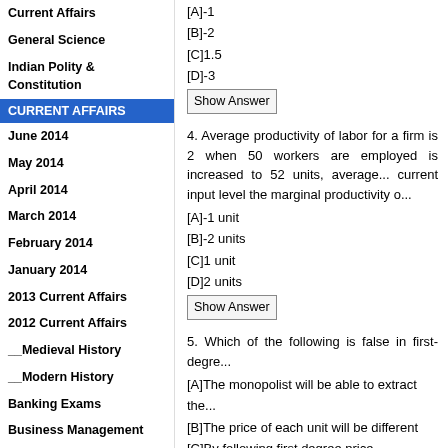Current Affairs
General Science
Indian Polity & Constitution
CURRENT AFFAIRS
June 2014
May 2014
April 2014
March 2014
February 2014
January 2014
2013 Current Affairs
2012 Current Affairs
__Medieval History
__Modern History
Banking Exams
Business Management
Information Technology
Miscellaneous
_United Nations days
[A]-1
[B]-2
[C]1.5
[D]-3
Show Answer
4. Average productivity of labor for a firm is... employed is increased to 52 units, average... current input level the marginal productivity o...
[A]-1 unit
[B]-2 units
[C]1 unit
[D]2 units
Show Answer
5. Which of the following is false in first-degr...
[A]The monopolist will be able to extract the...
[B]The price of each unit will be different
[C]By following first degree price discriminati... what he could otherwise earn at a single pric...
[D]The price of the first unit will be less than...
Show Answer